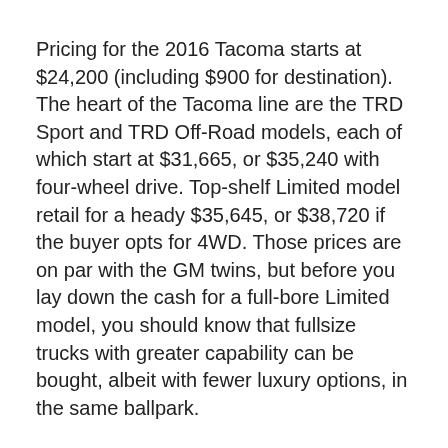Pricing for the 2016 Tacoma starts at $24,200 (including $900 for destination). The heart of the Tacoma line are the TRD Sport and TRD Off-Road models, each of which start at $31,665, or $35,240 with four-wheel drive. Top-shelf Limited model retail for a heady $35,645, or $38,720 if the buyer opts for 4WD. Those prices are on par with the GM twins, but before you lay down the cash for a full-bore Limited model, you should know that fullsize trucks with greater capability can be bought, albeit with fewer luxury options, in the same ballpark.
Granted, the Tacoma isn't meant to be cross-shopped with fullsize trucks. It's a smaller option for those who don't want or need the massive tow/haul/push/pull ratings of a behemoth pickup. Viewed in that light, the Tacoma is a shining star, and easily remains competitive with the new Chevy Colorado and GMC Canyon.